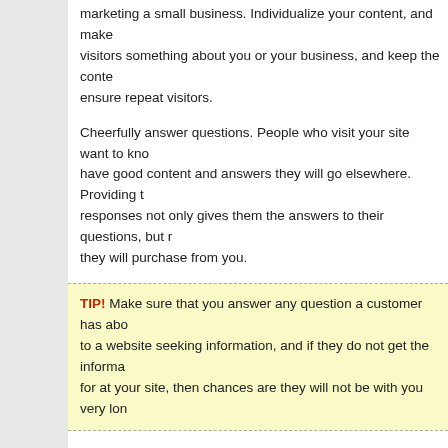marketing a small business. Individualize your content, and make visitors something about you or your business, and keep the content to ensure repeat visitors.
Cheerfully answer questions. People who visit your site want to know, if they do not have good content and answers they will go elsewhere. Providing thoughtful responses not only gives them the answers to their questions, but makes it more likely they will purchase from you.
TIP! Make sure that you answer any question a customer has about your products. People go to a website seeking information, and if they do not get the information they are looking for at your site, then chances are they will not be with you very long.
If you're going to rely on claims in marketing your product, make sure that you can prove. You can even try videos. Selling products you really use yourself lets you provide your own authoritative views on their usefulness.
Do not use spam. While it may seem efficient to post a bunch of comments, those posts won't have the positive effect you desire. And actually your impersonal nature will probably turn people off and make them feel irritated instead of interested.
When designing your website use Flash and AJAX, sparingly. Even